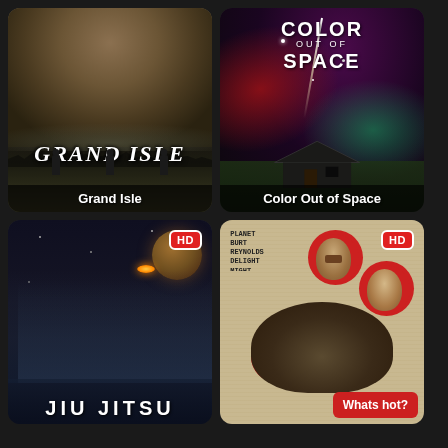[Figure (screenshot): Movie poster thumbnail for 'Grand Isle' showing a man's face, dark moody sky, text GRAND ISLE, and silhouettes at bottom]
Grand Isle
[Figure (screenshot): Movie poster thumbnail for 'Color Out of Space' showing cosmic horror imagery with a house, colored lights, and stylized title text]
Color Out of Space
[Figure (screenshot): Movie poster thumbnail for 'Jiu Jitsu' showing martial arts fighters, a planet, and meteor in space background with HD badge]
[Figure (screenshot): Movie poster thumbnail for a horror/zombie film showing illustrated characters on aged paper background with HD badge and 'Whats hot?' button]
Whats hot?